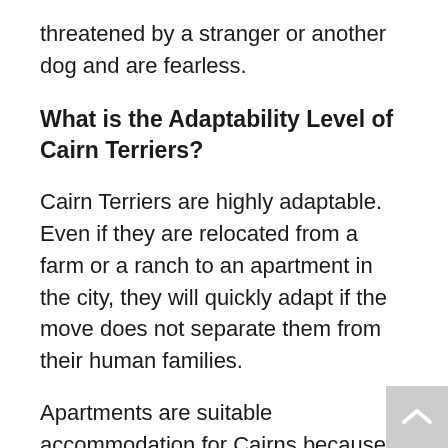threatened by a stranger or another dog and are fearless.
What is the Adaptability Level of Cairn Terriers?
Cairn Terriers are highly adaptable. Even if they are relocated from a farm or a ranch to an apartment in the city, they will quickly adapt if the move does not separate them from their human families.
Apartments are suitable accommodation for Cairns because they can make their own playground indoors. If you take your Toto Dog out for a couple of 30-minute walks per day, it